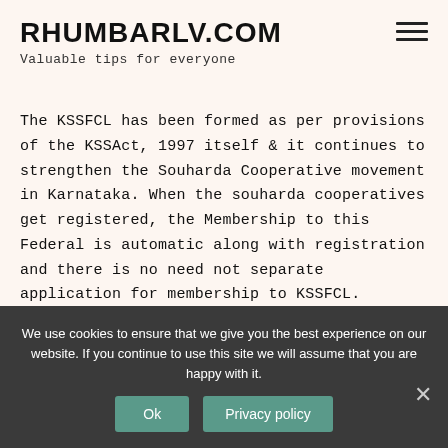RHUMBARLV.COM
Valuable tips for everyone
The KSSFCL has been formed as per provisions of the KSSAct, 1997 itself & it continues to strengthen the Souharda Cooperative movement in Karnataka. When the souharda cooperatives get registered, the Membership to this Federal is automatic along with registration and there is no need not separate application for membership to KSSFCL.
Which is the first cooperative society in Karnataka?
We use cookies to ensure that we give you the best experience on our website. If you continue to use this site we will assume that you are happy with it.